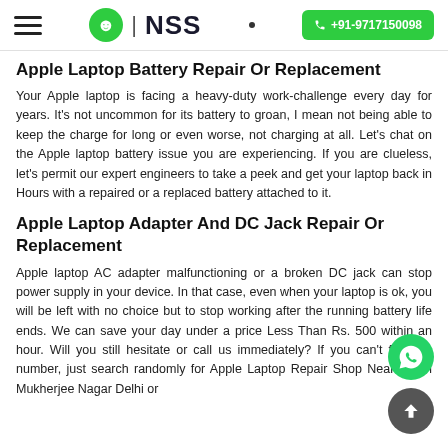NSS | +91-9717150098
Apple Laptop Battery Repair Or Replacement
Your Apple laptop is facing a heavy-duty work-challenge every day for years. It's not uncommon for its battery to groan, I mean not being able to keep the charge for long or even worse, not charging at all. Let's chat on the Apple laptop battery issue you are experiencing. If you are clueless, let's permit our expert engineers to take a peek and get your laptop back in Hours with a repaired or a replaced battery attached to it.
Apple Laptop Adapter And DC Jack Repair Or Replacement
Apple laptop AC adapter malfunctioning or a broken DC jack can stop power supply in your device. In that case, even when your laptop is ok, you will be left with no choice but to stop working after the running battery life ends. We can save your day under a price Less Than Rs. 500 within an hour. Will you still hesitate or call us immediately? If you can't find the number, just search randomly for Apple Laptop Repair Shop Near Me in Mukherjee Nagar Delhi or